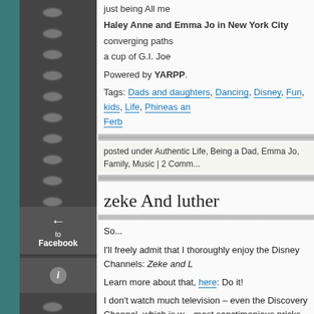just being All me
Haley Anne and Emma Jo in New York City
converging paths
a cup of G.I. Joe
Powered by YARPP.
Tags: Dads and daughters, Dancing, Disney, Fun, kids, Life, Phineas and Ferb
posted under Authentic Life, Being a Dad, Emma Jo, Family, Music | 2 Comm...
zeke And luther
So...
I'll freely admit that I thoroughly enjoy the Disney Channels: Zeke and L...
Learn more about that, here: Do it!
I don't watch much television – even the Discovery Channel, which is w... most sanctimonious pricks claim to watch when they piously claim not to watch television, when in fact the probably watch House and Greys Ana... and often with the help of their Tivo. But, if I can, I'll watch witty shows li... Zeke anf Luther, and also Phineas and Ferb – which is totally awesome...